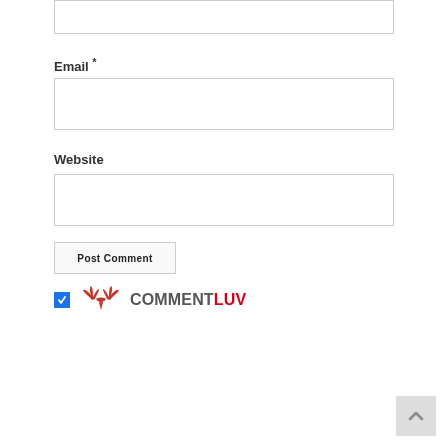Email *
Website
Post Comment
[Figure (logo): CommentLuv logo with red winged bird icon and text COMMENTLUV where COMMENT is dark gray and LUV is red, with a blue checked checkbox to the left]